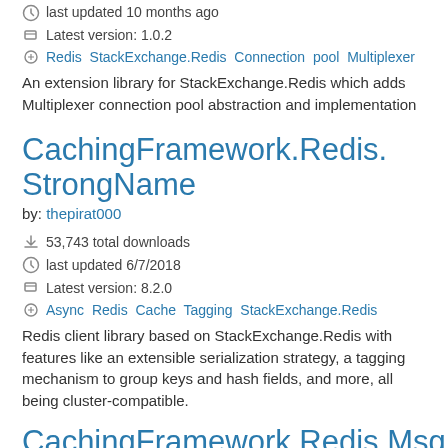last updated 10 months ago
Latest version: 1.0.2
Redis StackExchange.Redis Connection pool Multiplexer
An extension library for StackExchange.Redis which adds Multiplexer connection pool abstraction and implementation
CachingFramework.Redis.StrongName
by: thepirat000
53,743 total downloads
last updated 6/7/2018
Latest version: 8.2.0
Async Redis Cache Tagging StackExchange.Redis
Redis client library based on StackExchange.Redis with features like an extensible serialization strategy, a tagging mechanism to group keys and hash fields, and more, all being cluster-compatible.
CachingFramework.Redis.MsgPack
by: thepirat000